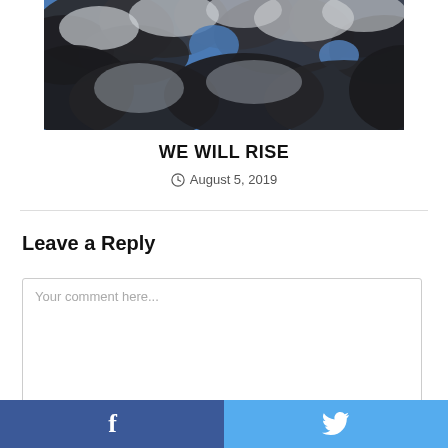[Figure (photo): A photograph of a dramatic sky with dark storm clouds and patches of blue sky visible through the clouds.]
WE WILL RISE
August 5, 2019
Leave a Reply
Your comment here...
Facebook and Twitter social share buttons